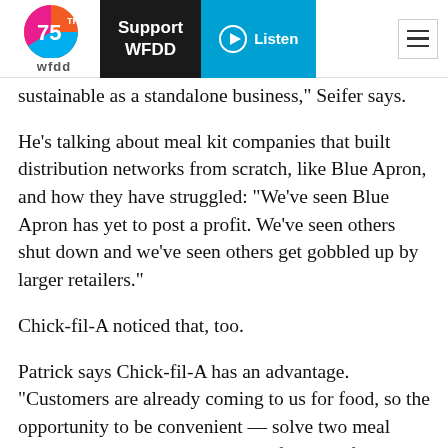WFDD | Support WFDD | Listen
sustainable as a standalone business," Seifer says.
He's talking about meal kit companies that built distribution networks from scratch, like Blue Apron, and how they have struggled: "We've seen Blue Apron has yet to post a profit. We've seen others shut down and we've seen others get gobbled up by larger retailers."
Chick-fil-A noticed that, too.
Patrick says Chick-fil-A has an advantage. "Customers are already coming to us for food, so the opportunity to be convenient — solve two meal problems in one visit — is the definition of